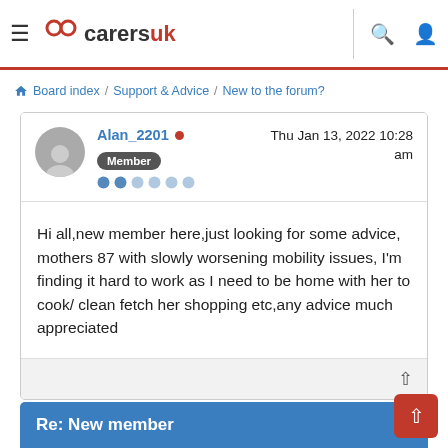CarersUK
Board index / Support & Advice / New to the forum?
Alan_2201 • Thu Jan 13, 2022 10:28 am
Member
Hi all,new member here,just looking for some advice, mothers 87 with slowly worsening mobility issues, I'm finding it hard to work as I need to be home with her to cook/ clean fetch her shopping etc,any advice much appreciated
Re: New member